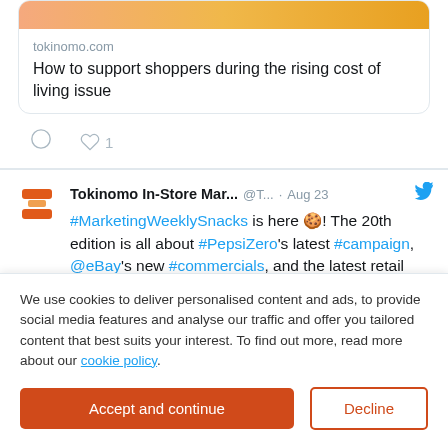[Figure (screenshot): Link card with tokinomo.com domain and article title about shoppers and rising cost of living]
tokinomo.com
How to support shoppers during the rising cost of living issue
♡ 1
Tokinomo In-Store Mar... @T... · Aug 23
#MarketingWeeklySnacks is here 🍪! The 20th edition is all about #PepsiZero's latest #campaign, @eBay's new #commercials, and the latest retail tech news. Check our tasty #expert opinions by @markryski, #DaveBruno, and #NicoleLeinbachReyhle. Bon appétit!
We use cookies to deliver personalised content and ads, to provide social media features and analyse our traffic and offer you tailored content that best suits your interest. To find out more, read more about our cookie policy.